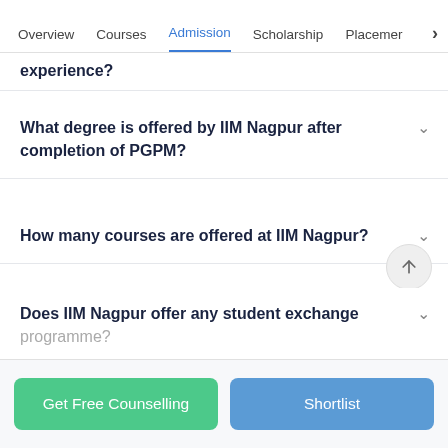Overview  Courses  Admission  Scholarship  Placement  >
experience?
What degree is offered by IIM Nagpur after completion of PGPM?
How many courses are offered at IIM Nagpur?
Does IIM Nagpur offer any student exchange programme?
Show More
Get Free Counselling    Shortlist